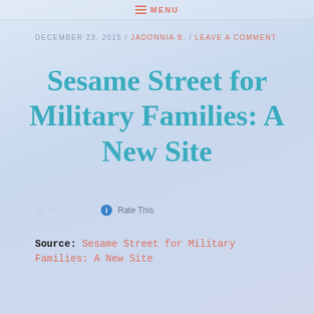MENU
DECEMBER 23, 2015 / JADONNIA B. / LEAVE A COMMENT
Sesame Street for Military Families: A New Site
Rate This
Source: Sesame Street for Military Families: A New Site